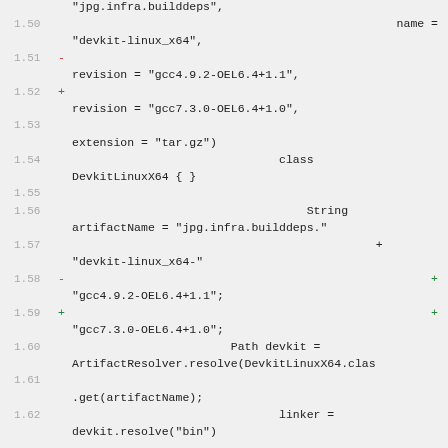Code diff showing lines 1.50–1.62 of a build configuration file, including changes to revision strings from gcc4.9.2-OEL6.4+1.1 to gcc7.3.0-OEL6.4+1.0.